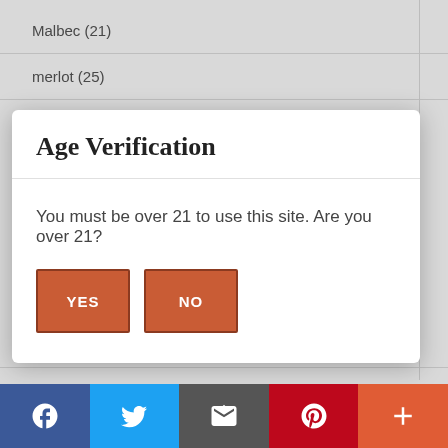Malbec (21)
merlot (25)
[Figure (screenshot): Age Verification modal dialog with title 'Age Verification', text 'You must be over 21 to use this site. Are you over 21?', and two orange buttons labeled YES and NO]
Riesling (16)
rose (14)
Sangiovese (11)
[Figure (infographic): Social media share bar at bottom with Facebook, Twitter, Email, Pinterest, and More (+) buttons]